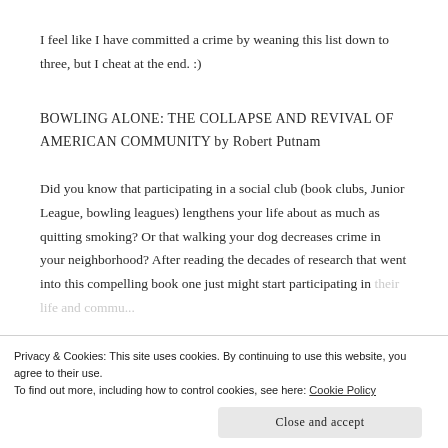I feel like I have committed a crime by weaning this list down to three, but I cheat at the end. :)
BOWLING ALONE: THE COLLAPSE AND REVIVAL OF AMERICAN COMMUNITY by Robert Putnam
Did you know that participating in a social club (book clubs, Junior League, bowling leagues) lengthens your life about as much as quitting smoking? Or that walking your dog decreases crime in your neighborhood? After reading the decades of research that went into this compelling book one just might start participating in their life and community activities their neighborhood, confir...
Privacy & Cookies: This site uses cookies. By continuing to use this website, you agree to their use.
To find out more, including how to control cookies, see here: Cookie Policy
Close and accept